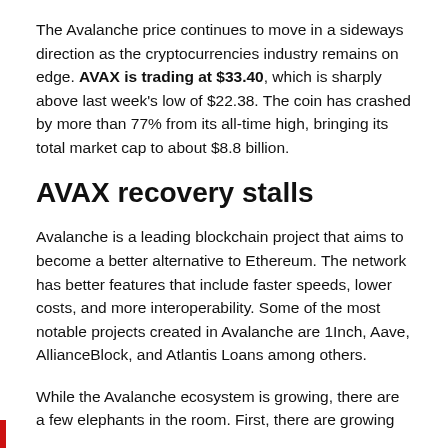The Avalanche price continues to move in a sideways direction as the cryptocurrencies industry remains on edge. AVAX is trading at $33.40, which is sharply above last week's low of $22.38. The coin has crashed by more than 77% from its all-time high, bringing its total market cap to about $8.8 billion.
AVAX recovery stalls
Avalanche is a leading blockchain project that aims to become a better alternative to Ethereum. The network has better features that include faster speeds, lower costs, and more interoperability. Some of the most notable projects created in Avalanche are 1Inch, Aave, AllianceBlock, and Atlantis Loans among others.
While the Avalanche ecosystem is growing, there are a few elephants in the room. First, there are growing